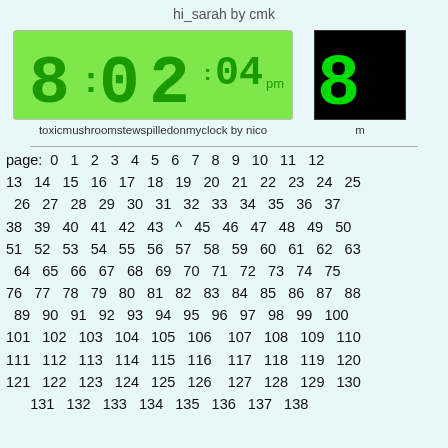hi_sarah by cmk
[Figure (illustration): Green digital clock display showing 8:02:04 pm on green background]
toxicmushroomstewspilledonmyclock by nico
[Figure (illustration): Black background with green digital clock segment showing partial digit 8]
m
page: 0 1 2 3 4 5 6 7 8 9 10 11 12 13 14 15 16 17 18 19 20 21 22 23 24 25 26 27 28 29 30 31 32 33 34 35 36 37 38 39 40 41 42 43 ^ 45 46 47 48 49 50 51 52 53 54 55 56 57 58 59 60 61 62 63 64 65 66 67 68 69 70 71 72 73 74 75 76 77 78 79 80 81 82 83 84 85 86 87 88 89 90 91 92 93 94 95 96 97 98 99 100 101 102 103 104 105 106 107 108 109 110 111 112 113 114 115 116 117 118 119 120 121 122 123 124 125 126 127 128 129 130 131 132 133 134 135 136 137 138